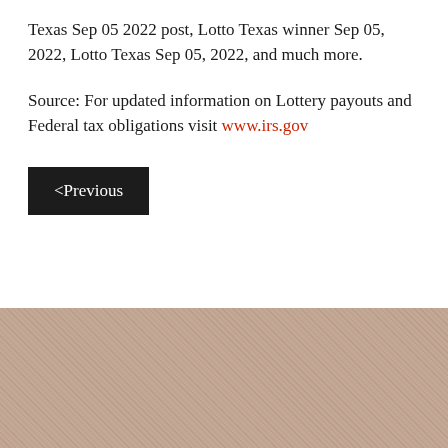Texas Sep 05 2022 post, Lotto Texas winner Sep 05, 2022, Lotto Texas Sep 05, 2022, and much more.
Source: For updated information on Lottery payouts and Federal tax obligations visit www.irs.gov
<Previous
[Figure (other): Tan/brown textured background section with a white rectangle inset, part of page footer/sidebar area]